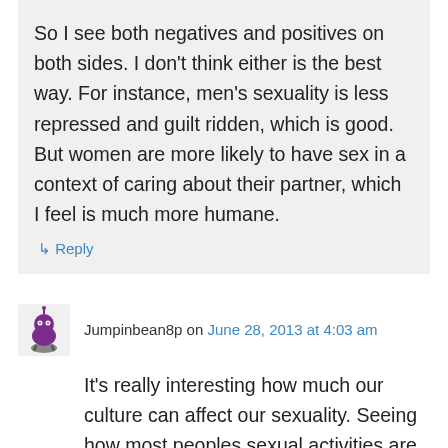So I see both negatives and positives on both sides. I don't think either is the best way. For instance, men's sexuality is less repressed and guilt ridden, which is good. But women are more likely to have sex in a context of caring about their partner, which I feel is much more humane.
↳ Reply
Jumpinbean8p on June 28, 2013 at 4:03 am
It's really interesting how much our culture can affect our sexuality. Seeing how most peoples sexual activities are done in privacy it's a bit mind boggling how much it can be repressed for women because of the negativity our society...